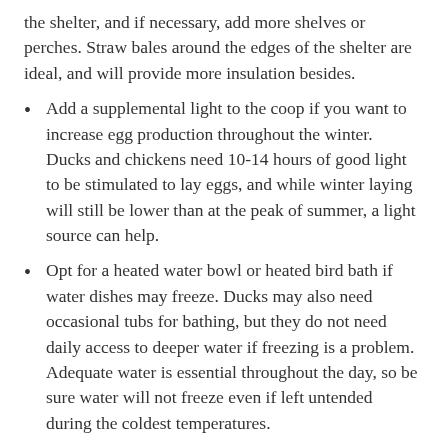the shelter, and if necessary, add more shelves or perches. Straw bales around the edges of the shelter are ideal, and will provide more insulation besides.
Add a supplemental light to the coop if you want to increase egg production throughout the winter. Ducks and chickens need 10-14 hours of good light to be stimulated to lay eggs, and while winter laying will still be lower than at the peak of summer, a light source can help.
Opt for a heated water bowl or heated bird bath if water dishes may freeze. Ducks may also need occasional tubs for bathing, but they do not need daily access to deeper water if freezing is a problem. Adequate water is essential throughout the day, so be sure water will not freeze even if left untended during the coldest temperatures.